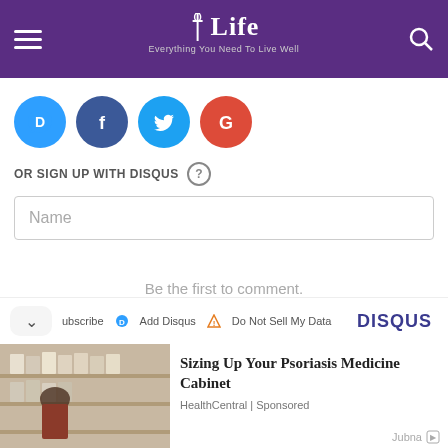≡ ✞Life Everything You Need To Live Well 🔍
[Figure (logo): Social login icons: Disqus (blue), Facebook (dark blue), Twitter (light blue), Google (red)]
OR SIGN UP WITH DISQUS ?
Name
Be the first to comment.
Subscribe  Add Disqus  Do Not Sell My Data  DISQUS
Sizing Up Your Psoriasis Medicine Cabinet
HealthCentral | Sponsored
Jubna